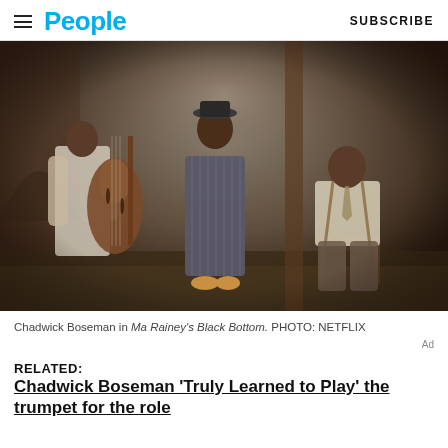People  SUBSCRIBE
[Figure (photo): Three men in a rustic basement/cellar setting. A man on the left plays a large upright bass/cello. A man in the center stands wearing a pinstripe suit and a brimmed hat. A man on the right sits in a chair wearing a white shirt with suspenders and a tie. Scene from Ma Rainey's Black Bottom.]
Chadwick Boseman in Ma Rainey's Black Bottom. PHOTO: NETFLIX
Ad
RELATED: Chadwick Boseman 'Truly Learned to Play' the